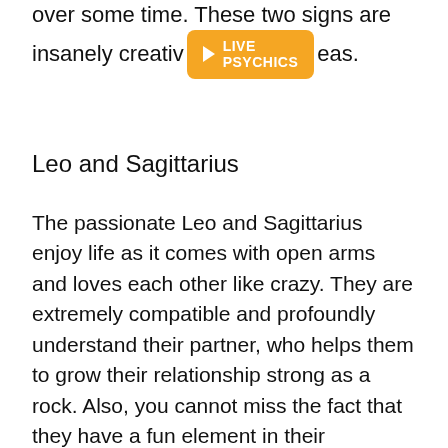over some time. These two signs are insanely creative [LIVE PSYCHICS button] eas.
[Figure (other): Orange button with play icon and text 'LIVE PSYCHICS']
Leo and Sagittarius
The passionate Leo and Sagittarius enjoy life as it comes with open arms and loves each other like crazy. They are extremely compatible and profoundly understand their partner, who helps them to grow their relationship strong as a rock. Also, you cannot miss the fact that they have a fun element in their relationship. Being two fire signs, these two can live, love, and grow together, making them incredibly compatible with love scores.